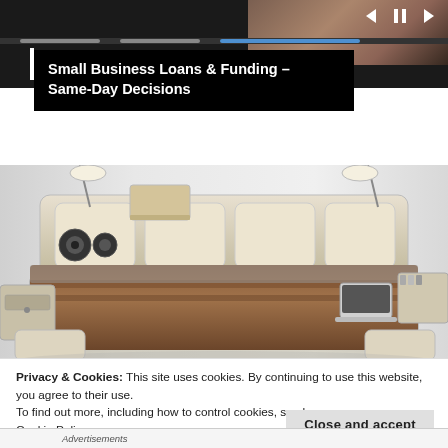[Figure (screenshot): Top media/video strip with dark background, progress bar, and media playback controls. Partially shows a photo of a person on the right side.]
Small Business Loans & Funding – Same-Day Decisions
[Figure (photo): Photo of a luxury smart bed with built-in speakers, reading lamps, storage drawers, side tables, and integrated multimedia features. Beige/cream colored upholstery with brown bedding.]
Privacy & Cookies: This site uses cookies. By continuing to use this website, you agree to their use.
To find out more, including how to control cookies, see here:
Cookie Policy
Close and accept
Advertisements